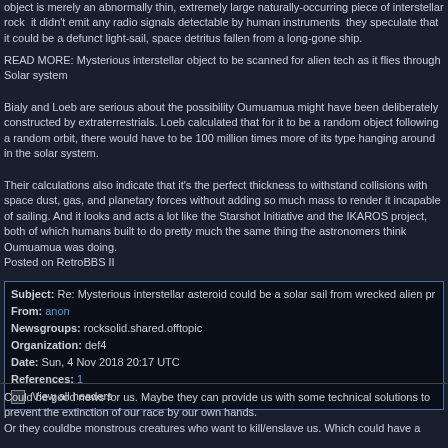object is merely an abnormally thin, extremely large naturally-occurring piece of interstellar rock  it didn't emit any radio signals detectable by human instruments  they speculate that it could be a defunct light-sail, space detritus fallen from a long-gone ship.
READ MORE: Mysterious interstellar object to be scanned for alien tech as it flies through Solar system
Bialy and Loeb are serious about the possibility Oumuamua might have been deliberately constructed by extraterrestrials. Loeb calculated that for it to be a random object following a random orbit, there would have to be 100 million times more of its type hanging around in the solar system.
Their calculations also indicate that it's the perfect thickness to withstand collisions with space dust, gas, and planetary forces without adding so much mass to render it incapable of sailing. And it looks and acts a lot like the Starshot Initiative and the IKAROS project, both of which humans built to do pretty much the same thing the astronomers think Oumuamua was doing.
Posted on RetroBBS II
Reply
| Subject: | Re: Mysterious interstellar asteroid could be a solar sail from wrecked alien pr |
| From: | anon |
| Newsgroups: | rocksolid.shared.offtopic |
| Organization: | def4 |
| Date: | Sun, 4 Nov 2018 20:17 UTC |
| References: | 1 |
|  | View all headers |
Could be good news for us. Maybe they can provide us with some technical solutions to prevent the extinction of our race by our own hands.
Or they couldbe monstrous creatures who want to kill/enslave us. Which could have a